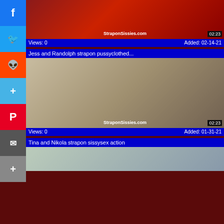[Figure (screenshot): Social media share sidebar with Facebook, Twitter, Reddit, Plus, Pinterest, Mail, More buttons]
[Figure (screenshot): Video thumbnail for first video with watermark StraponSissies.com and duration 02:23]
Views: 0    Added: 02-14-21
Jess and Randolph strapon pussyclothed...
[Figure (screenshot): Video thumbnail for Jess and Randolph strapon video with watermark StraponSissies.com and duration 02:23]
Views: 0    Added: 01-31-21
Tina and Nikola strapon sissysex action
[Figure (screenshot): Video thumbnail for Tina and Nikola strapon sissysex action]